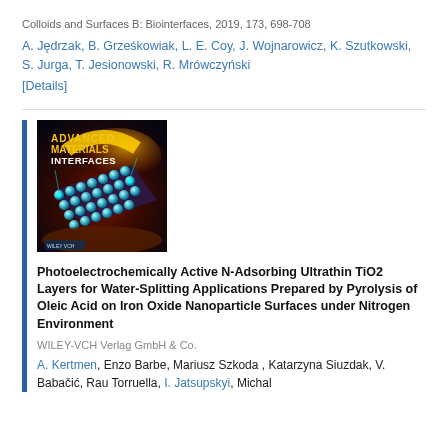Colloids and Surfaces B: Biointerfaces, 2019, 173, 698-708
A. Jędrzak, B. Grześkowiak, L. E. Coy, J. Wojnarowicz, K. Szutkowski, S. Jurga, T. Jesionowski, R. Mrówczyński
[Details]
[Figure (illustration): Cover image of Advanced Materials Interfaces journal showing nanoparticle grid array with colorful abstract background]
Photoelectrochemically Active N-Adsorbing Ultrathin TiO2 Layers for Water-Splitting Applications Prepared by Pyrolysis of Oleic Acid on Iron Oxide Nanoparticle Surfaces under Nitrogen Environment
WILEY-VCH Verlag GmbH & Co.
A. Kertmen, Enzo Barbe, Mariusz Szkoda , Katarzyna Siuzdak, V. Babačić, Rau Torruella, I. Jatsupskyi, Michal...